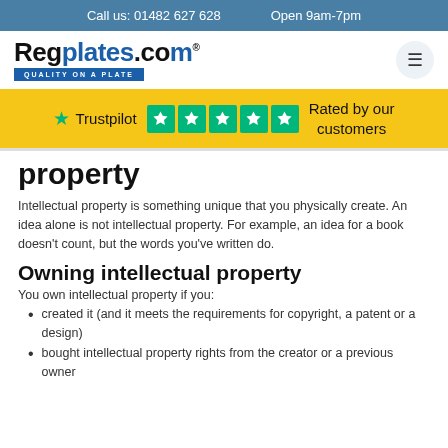Call us: 01482 627 628    Open 9am-7pm
[Figure (logo): Regplates.com logo with tagline QUALITY ON A PLATE and hamburger menu icon]
[Figure (infographic): Trustpilot banner with 5 green star rating boxes and text: Rated by our customers]
property
Intellectual property is something unique that you physically create. An idea alone is not intellectual property. For example, an idea for a book doesn't count, but the words you've written do.
Owning intellectual property
You own intellectual property if you:
created it (and it meets the requirements for copyright, a patent or a design)
bought intellectual property rights from the creator or a previous owner